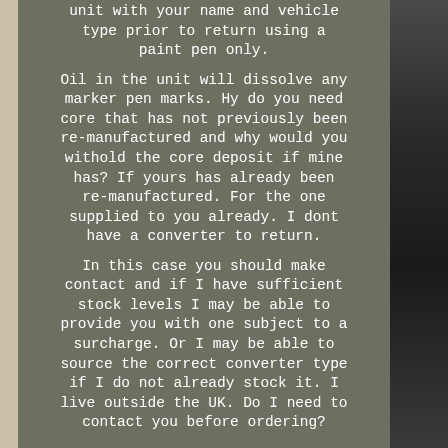unit with your name and vehicle type prior to return using a paint pen only.
Oil in the unit will dissolve any marker pen marks. Hy do you need core that has not previously been re-manufactured and why would you withold the core deposit if mine has? If yours has already been re-manufactured. For the one supplied to you already. I dont have a converter to return.
In this case you should make contact and if I have sufficient stock levels I may be able to provide you with one subject to a surcharge. Or I may be able to source the correct converter type if I do not already stock it. I live outside the UK. Do I need to contact you before ordering?